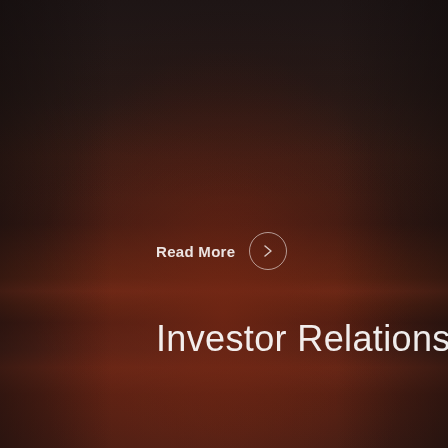[Figure (photo): Dark atmospheric background photo with reddish-brown tones, suggesting a dusky or industrial landscape. Dark vignetting on sides and top. Moody low-light scene.]
Read More
Investor Relations